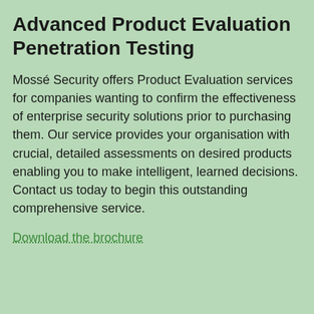Advanced Product Evaluation Penetration Testing
Mossé Security offers Product Evaluation services for companies wanting to confirm the effectiveness of enterprise security solutions prior to purchasing them. Our service provides your organisation with crucial, detailed assessments on desired products enabling you to make intelligent, learned decisions. Contact us today to begin this outstanding comprehensive service.
Download the brochure
Social Engineering Attacks
Mossé Security's Social Engineering services test